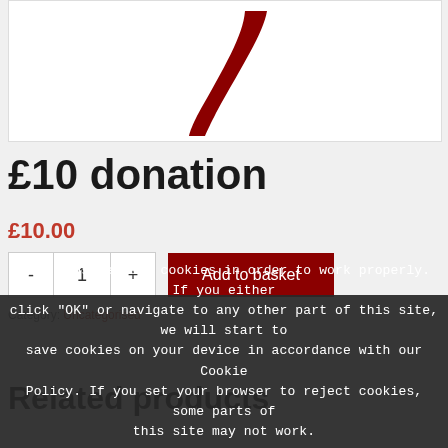[Figure (logo): Partial red curved logo mark on white background]
£10 donation
£10.00
- 1 + Add to basket
Category: Uncategorised
This website uses cookies in order to work properly. If you either click "OK" or navigate to any other part of this site, we will start to save cookies on your device in accordance with our Cookie Policy. If you set your browser to reject cookies, some parts of this site may not work.
Related products